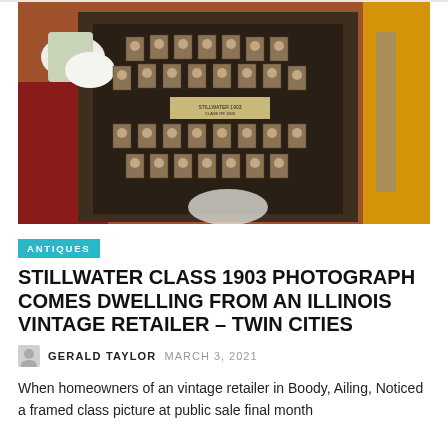[Figure (photo): A framed 1903 class photograph with many individual portrait cards arranged on a dark mat board, being held by someone wearing white gloves. The photograph is displayed at what appears to be an antique sale or exhibition with colorful textiles visible in the background.]
ANTIQUES
STILLWATER CLASS 1903 PHOTOGRAPH COMES DWELLING FROM AN ILLINOIS VINTAGE RETAILER – TWIN CITIES
GERALD TAYLOR   MARCH 3, 2021
When homeowners of an vintage retailer in Boody, Ailing, Noticed a framed class picture at public sale final month